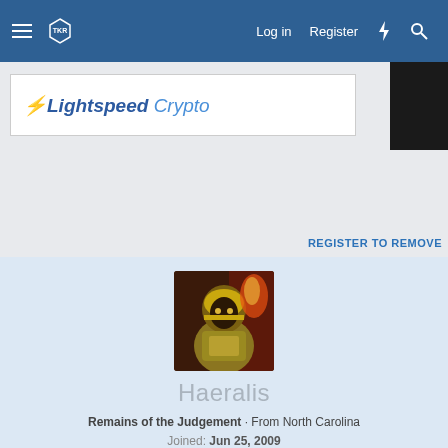Log in  Register
[Figure (screenshot): Advertisement banner showing 'Lightspeed Crypto' logo on white background]
REGISTER TO REMOVE
[Figure (photo): User avatar showing a dark fantasy armored character with gold armor and flames, reddish dark background]
Haeralis
Remains of the Judgement · From North Carolina
Joined: Jun 25, 2009